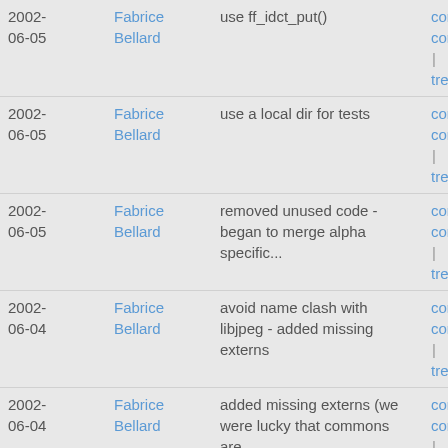| Date | Author | Message | Links |
| --- | --- | --- | --- |
| 2002-06-05 | Fabrice Bellard | use ff_idct_put() | commit | commitdiff | tree |
| 2002-06-05 | Fabrice Bellard | use a local dir for tests | commit | commitdiff | tree |
| 2002-06-05 | Fabrice Bellard | removed unused code - began to merge alpha specific... | commit | commitdiff | tree |
| 2002-06-04 | Fabrice Bellard | avoid name clash with libjpeg - added missing externs | commit | commitdiff | tree |
| 2002-06-04 | Fabrice Bellard | added missing externs (we were lucky that commons are... | commit | commitdiff | tree |
| 2002-06-04 | Fabrice Bellard | added missing externs | commit | commitdiff | tree |
| 2002-06-01 | Fabrice Bellard | mpegaudio decoder is in high precision mode by default... | commit | commitdiff | tree |